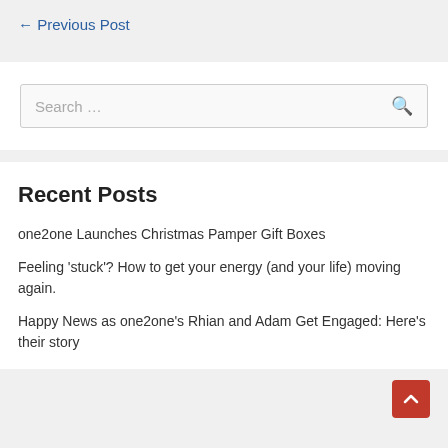← Previous Post
[Figure (other): Search box with placeholder text 'Search ...' and a search icon]
Recent Posts
one2one Launches Christmas Pamper Gift Boxes
Feeling 'stuck'? How to get your energy (and your life) moving again.
Happy News as one2one's Rhian and Adam Get Engaged: Here's their story